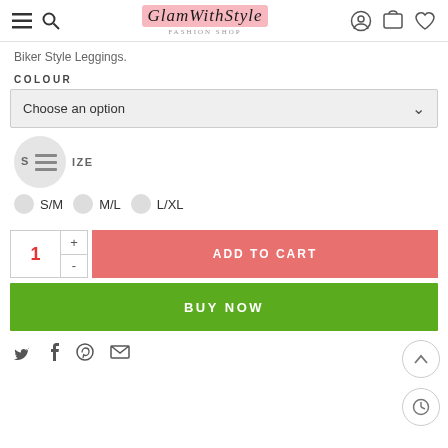GlamWithStyle Fashion Shop
Biker Style Leggings.
COLOUR
Choose an option
SIZE
S/M  M/L  L/XL
1  ADD TO CART
BUY NOW